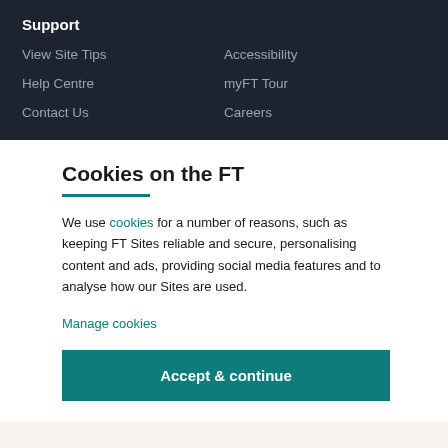Support
View Site Tips
Accessibility
Help Centre
myFT Tour
Contact Us
Careers
Cookies on the FT
We use cookies for a number of reasons, such as keeping FT Sites reliable and secure, personalising content and ads, providing social media features and to analyse how our Sites are used.
Manage cookies
Accept & continue